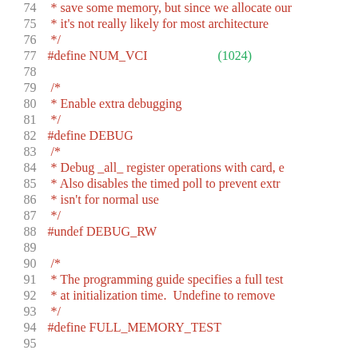[Figure (screenshot): Source code listing showing C preprocessor directives and comments, lines 74-95. Dark red/maroon monospace font on white background with gray line numbers. Code includes #define NUM_VCI (1024), #define DEBUG, #undef DEBUG_RW, and #define FULL_MEMORY_TEST with associated block comments.]